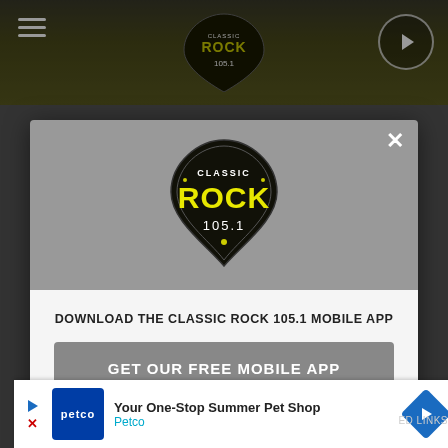[Figure (screenshot): Classic Rock 105.1 website with top banner showing logo, hamburger menu, and play button]
[Figure (logo): Classic Rock 105.1 guitar pick shaped logo with yellow ROCK text]
DOWNLOAD THE CLASSIC ROCK 105.1 MOBILE APP
GET OUR FREE MOBILE APP
Also listen on:  amazon alexa
[Figure (screenshot): Petco advertisement banner: Your One-Stop Summer Pet Shop - Petco]